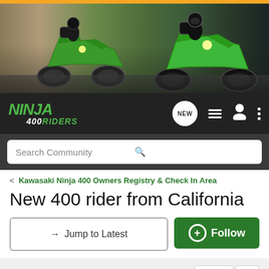[Figure (photo): Ninja 400 riders forum banner with two green Kawasaki Ninja motorcycles on a racetrack background]
[Figure (logo): Ninja 400 Riders logo in green italic font with navigation icons (NEW, list, user, dots)]
Search Community
< Kawasaki Ninja 400 Owners Registry & Check In Area
New 400 rider from California
→ Jump to Latest
⊕ Follow
1 - 20 of 23 Posts
1 of 2
Arvy · Registered